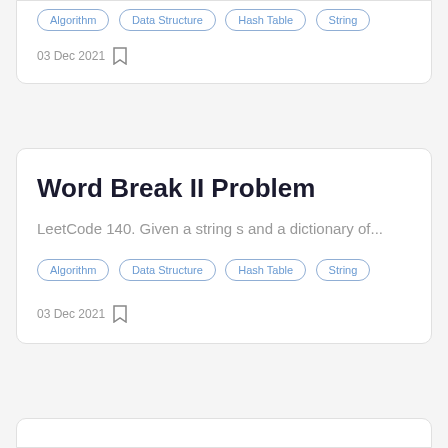Algorithm, Data Structure, Hash Table, String — 03 Dec 2021 (top card partial)
Word Break II Problem
LeetCode 140. Given a string s and a dictionary of...
Algorithm
Data Structure
Hash Table
String
03 Dec 2021